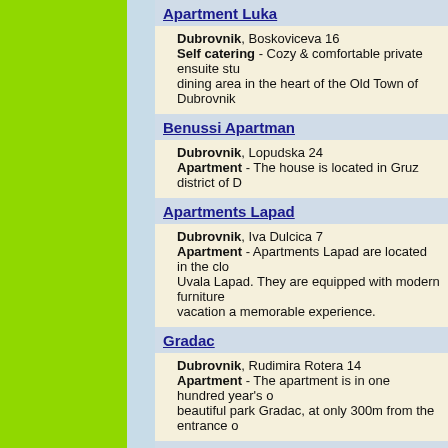Apartment Luka
Dubrovnik, Boskoviceva 16
Self catering - Cozy & comfortable private ensuite studio with dining area in the heart of the Old Town of Dubrovnik
Benussi Apartman
Dubrovnik, Lopudska 24
Apartment - The house is located in Gruz district of D
Apartments Lapad
Dubrovnik, Iva Dulcica 7
Apartment - Apartments Lapad are located in the clo… Uvala Lapad. They are equipped with modern furniture … vacation a memorable experience.
Gradac
Dubrovnik, Rudimira Rotera 14
Apartment - The apartment is in one hundred year's … beautiful park Gradac, at only 300m from the entrance …
Apartment Tina
Dubrovnik, Od Kastela 11
Apartment - Beautiful recently renovated apartment w… Old City.
Artemida Studio Bete
Dubrovnik, Ghetaldiceva 7
Apartment - Room Bete are situated in the center of … Only minutes away from all the good concerts, plays, or
Villa Smodlaka
Dubrovnik, Kotorska 5